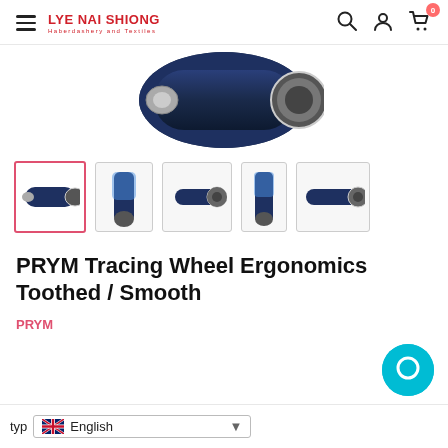LYE NAI SHIONG Haberdashery and Textiles
[Figure (photo): Close-up partial view of a dark navy ergonomic tracing wheel handle against white background]
[Figure (photo): Row of five product thumbnail images of the PRYM Tracing Wheel Ergonomics Toothed/Smooth, first thumbnail selected with pink border]
PRYM Tracing Wheel Ergonomics Toothed / Smooth
PRYM
[Figure (other): Teal circular chat bubble icon in bottom right corner]
English language selector dropdown, partially obscured by bottom edge